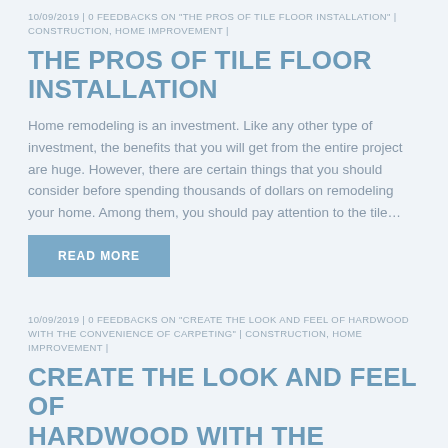10/09/2019 | 0 FEEDBACKS ON “THE PROS OF TILE FLOOR INSTALLATION” | CONSTRUCTION, HOME IMPROVEMENT |
THE PROS OF TILE FLOOR INSTALLATION
Home remodeling is an investment. Like any other type of investment, the benefits that you will get from the entire project are huge. However, there are certain things that you should consider before spending thousands of dollars on remodeling your home. Among them, you should pay attention to the tile…
READ MORE
10/09/2019 | 0 FEEDBACKS ON “CREATE THE LOOK AND FEEL OF HARDWOOD WITH THE CONVENIENCE OF CARPETING” | CONSTRUCTION, HOME IMPROVEMENT |
CREATE THE LOOK AND FEEL OF HARDWOOD WITH THE